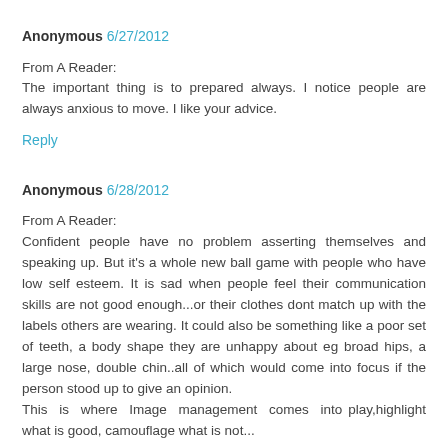Anonymous 6/27/2012
From A Reader:
The important thing is to prepared always. I notice people are always anxious to move. I like your advice.
Reply
Anonymous 6/28/2012
From A Reader:
Confident people have no problem asserting themselves and speaking up. But it's a whole new ball game with people who have low self esteem. It is sad when people feel their communication skills are not good enough...or their clothes dont match up with the labels others are wearing. It could also be something like a poor set of teeth, a body shape they are unhappy about eg broad hips, a large nose, double chin..all of which would come into focus if the person stood up to give an opinion.
This is where Image management comes into play.highlight what is good, camouflage what is not...